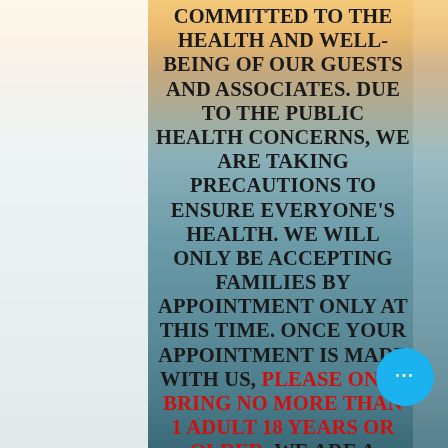COMMITTED TO THE HEALTH AND WELL-BEING OF OUR GUESTS AND ASSOCIATES. DUE TO THE PUBLIC HEALTH CONCERNS, WE ARE TAKING PRECAUTIONS TO ENSURE EVERYONE'S HEALTH. WE WILL ONLY BE ACCEPTING FAMILIES BY APPOINTMENT ONLY AT THIS TIME. ONCE YOUR APPOINTMENT IS MADE WITH US, PLEASE ONLY BRING NO MORE THAN 1 ADULT 18 YEARS OR OLDER. WE ARE A SMALL FAMILY OWNED FUNERAL HOME WITH
[Figure (other): Blue circular chat bubble icon with three white dots]